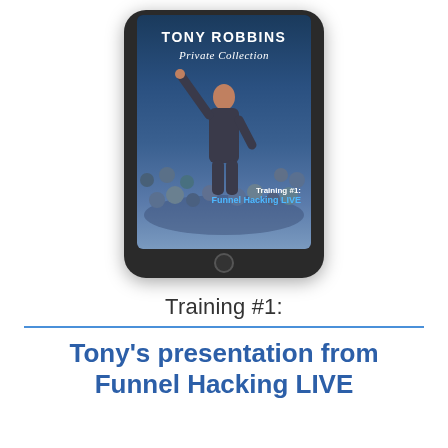[Figure (illustration): An iPad/tablet device showing the Tony Robbins Private Collection cover with a speaker (Tony Robbins) gesturing to a crowd, overlaid with text: 'TONY ROBBINS Private Collection' at the top and 'Training #1: Funnel Hacking LIVE' at the bottom right of the screen.]
Training #1:
Tony's presentation from Funnel Hacking LIVE